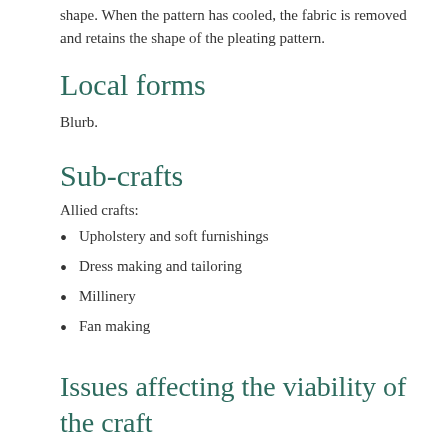shape. When the pattern has cooled, the fabric is removed and retains the shape of the pleating pattern.
Local forms
Blurb.
Sub-crafts
Allied crafts:
Upholstery and soft furnishings
Dress making and tailoring
Millinery
Fan making
Issues affecting the viability of the craft